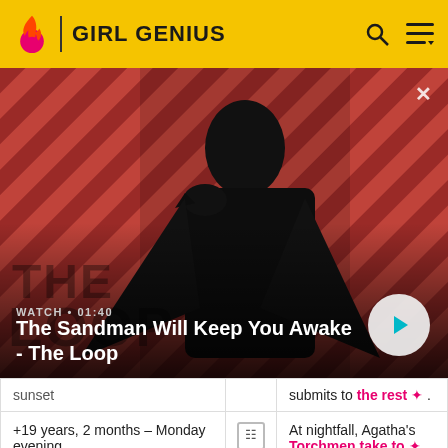GIRL GENIUS
[Figure (photo): Promotional image for 'The Sandman Will Keep You Awake - The Loop' showing a pale young man in dark clothing with a raven on his shoulder, standing against a red and black diagonal striped background. Text overlay shows WATCH • 01:40 and title. A circular play button is visible bottom right. A close (×) icon is top right.]
| sunset |  | submits to the rest ✦ . |
| +19 years, 2 months – Monday evening |  | At nightfall, Agatha's Torchmen take to ✦ the skies of Mechanicsburg for first time since the attack |